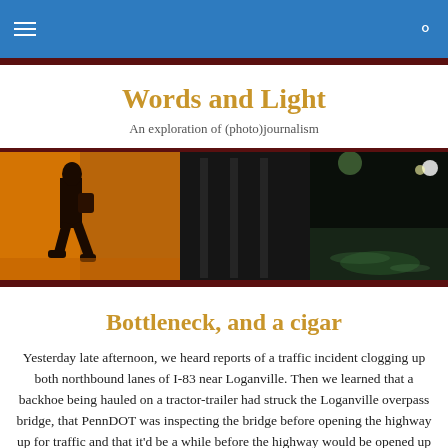Words and Light — navigation header with menu and search icons
Words and Light
An exploration of (photo)journalism
[Figure (photo): A dark atmospheric nighttime photo showing a person walking on a wet sidewalk with orange/amber tones on the left and dark industrial buildings with reflections on the right.]
Bottleneck, and a cigar
Yesterday late afternoon, we heard reports of a traffic incident clogging up both northbound lanes of I-83 near Loganville. Then we learned that a backhoe being hauled on a tractor-trailer had struck the Loganville overpass bridge, that PennDOT was inspecting the bridge before opening the highway up for traffic and that it'd be a while before the highway would be opened up for traffic. Then we started hearing about